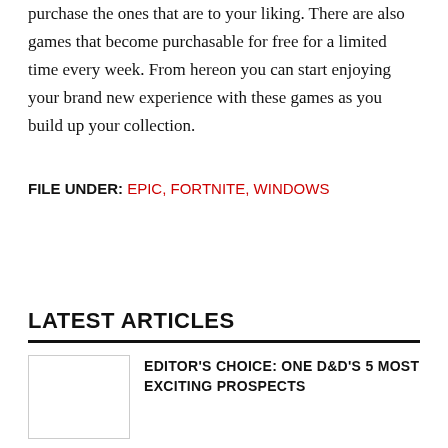purchase the ones that are to your liking. There are also games that become purchasable for free for a limited time every week. From hereon you can start enjoying your brand new experience with these games as you build up your collection.
FILE UNDER: EPIC, FORTNITE, WINDOWS
LATEST ARTICLES
EDITOR'S CHOICE: ONE D&D'S 5 MOST EXCITING PROSPECTS